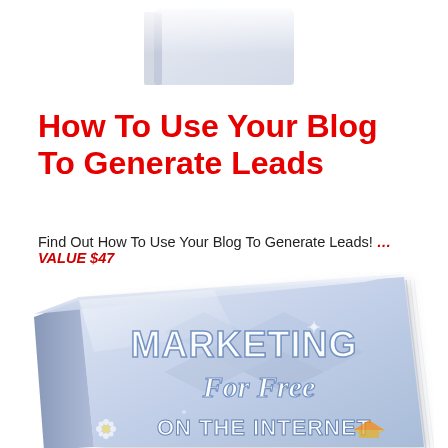[Figure (illustration): Top partial view of a book cover similar to 'Marketing For Free On The Internet', showing the top portion only, slightly faded]
How To Use Your Blog To Generate Leads
Find Out How To Use Your Blog To Generate Leads! …VALUE $47
[Figure (illustration): A 3D rendered book titled 'MARKETING For Free ON THE INTERNET' with a light blue/silver cover featuring geometric diamond shapes and sparkles, shown at an angle]